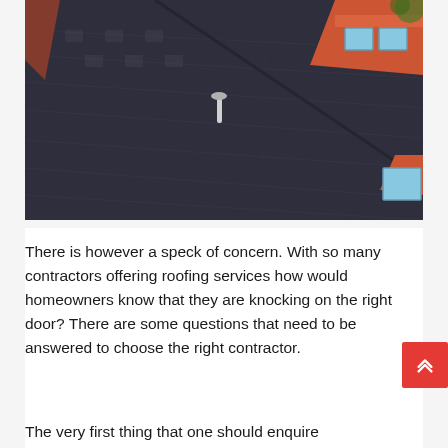[Figure (photo): Aerial view of a dark grey asphalt shingle roof with two skylights near the top right, an orange/red chimney or wall structure at top right, another small skylight at bottom right, and a vent pipe near the center. Orange trim visible on the building edges.]
There is however a speck of concern. With so many contractors offering roofing services how would homeowners know that they are knocking on the right door? There are some questions that need to be answered to choose the right contractor.
The very first thing that one should enquire